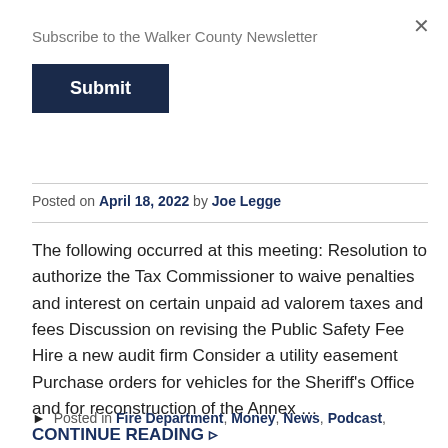Subscribe to the Walker County Newsletter
Submit
Posted on April 18, 2022 by Joe Legge
The following occurred at this meeting: Resolution to authorize the Tax Commissioner to waive penalties and interest on certain unpaid ad valorem taxes and fees Discussion on revising the Public Safety Fee Hire a new audit firm Consider a utility easement Purchase orders for vehicles for the Sheriff's Office and for reconstruction of the Annex …
CONTINUE READING ▸
▶ Posted in Fire Department, Money, News, Podcast,